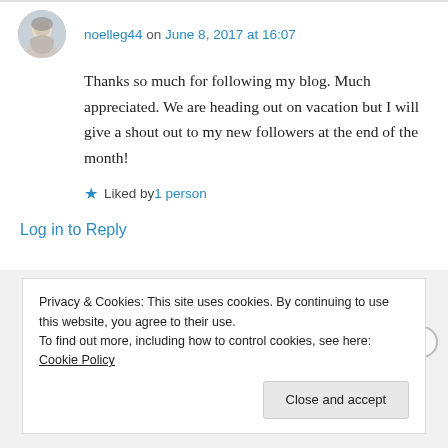noelleg44 on June 8, 2017 at 16:07
Thanks so much for following my blog. Much appreciated. We are heading out on vacation but I will give a shout out to my new followers at the end of the month!
Liked by 1 person
Log in to Reply
Privacy & Cookies: This site uses cookies. By continuing to use this website, you agree to their use. To find out more, including how to control cookies, see here: Cookie Policy
Close and accept